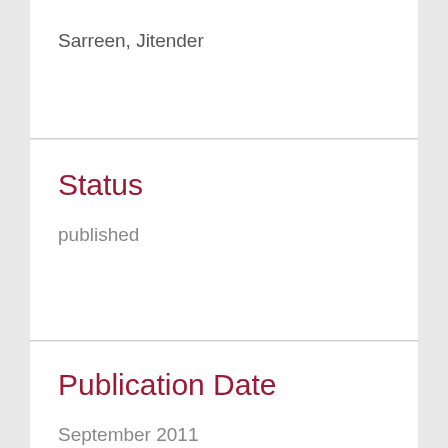Sarreen, Jitender
Status
published
Publication Date
September 2011
Has Subject Area
1103 Clinical Sciences (FoR)